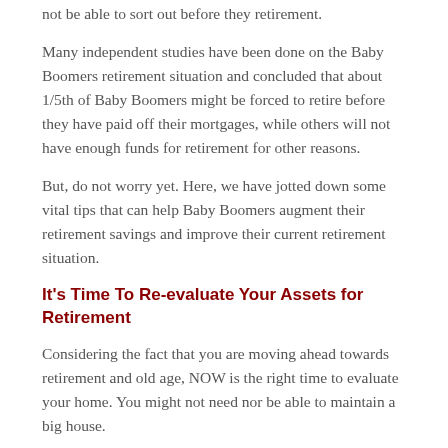not be able to sort out before they retirement.
Many independent studies have been done on the Baby Boomers retirement situation and concluded that about 1/5th of Baby Boomers might be forced to retire before they have paid off their mortgages, while others will not have enough funds for retirement for other reasons.
But, do not worry yet. Here, we have jotted down some vital tips that can help Baby Boomers augment their retirement savings and improve their current retirement situation.
It's Time To Re-evaluate Your Assets for Retirement
Considering the fact that you are moving ahead towards retirement and old age, NOW is the right time to evaluate your home. You might not need nor be able to maintain a big house.